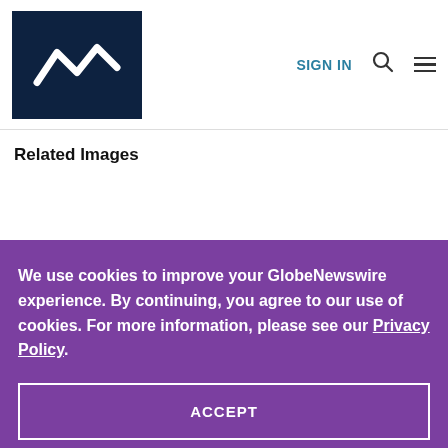[Figure (logo): GlobeNewswire logo - white zigzag arrow on dark navy background]
SIGN IN
Related Images
We use cookies to improve your GlobeNewswire experience. By continuing, you agree to our use of cookies. For more information, please see our Privacy Policy.
ACCEPT